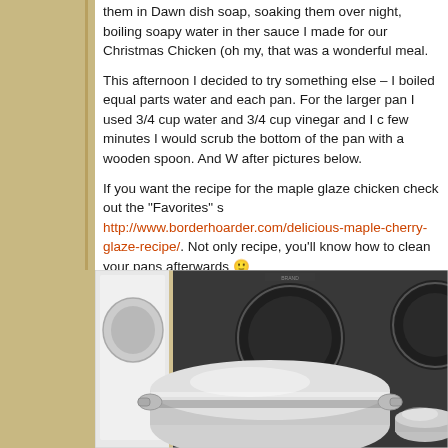them in Dawn dish soap, soaking them over night, boiling soapy water in ther sauce I made for our Christmas Chicken (oh my, that was a wonderful meal.
This afternoon I decided to try something else – I boiled equal parts water and each pan. For the larger pan I used 3/4 cup water and 3/4 cup vinegar and I c few minutes I would scrub the bottom of the pan with a wooden spoon. And W after pictures below.
If you want the recipe for the maple glaze chicken check out the "Favorites" s http://www.borderhoarder.com/delicious-maple-cherry-glaze-recipe/. Not only recipe, you'll know how to clean your pans afterwards 🙂
[Figure (photo): Photo of a black glass ceramic stovetop with stainless steel pots sitting on the burners, viewed from above.]